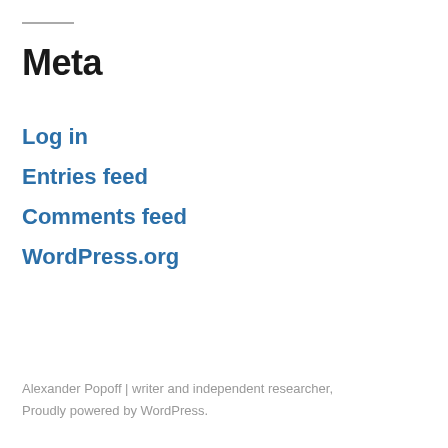Meta
Log in
Entries feed
Comments feed
WordPress.org
Alexander Popoff | writer and independent researcher, Proudly powered by WordPress.